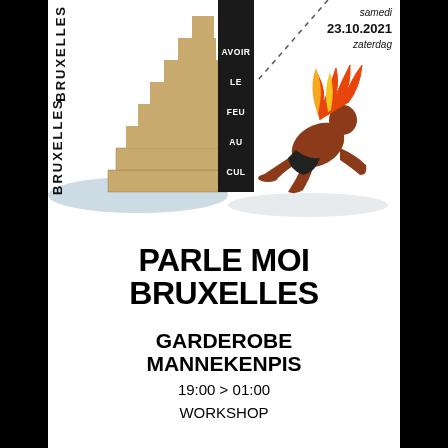[Figure (illustration): Event poster illustration showing a stepped/staircase stone structure on the left with text 'AVOIR LE FEU AU CUL' on a dark panel, a crouching figure with flames on their back on the right, a dashed diagonal line, and the text 'BRUXELLES' vertically on the far left. Date 'samedi 23.10.2021 zaterdag' in top right.]
PARLE MOI BRUXELLES
GARDEROBE MANNEKENPIS
19:00 > 01:00
WORKSHOP